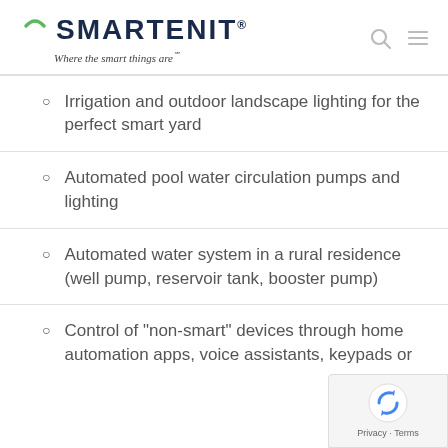SMARTENIT® — Where the smart things are℠
Irrigation and outdoor landscape lighting for the perfect smart yard
Automated pool water circulation pumps and lighting
Automated water system in a rural residence (well pump, reservoir tank, booster pump)
Control of "non-smart" devices through home automation apps, voice assistants, keypads or